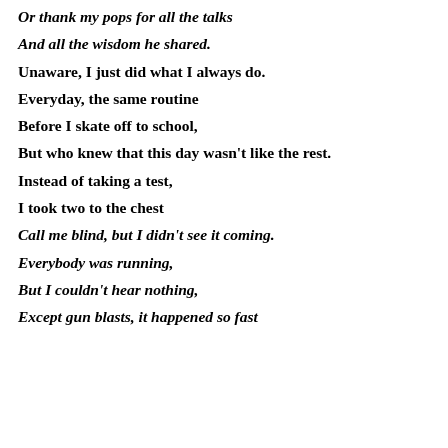Or thank my pops for all the talks
And all the wisdom he shared.
Unaware, I just did what I always do.
Everyday, the same routine
Before I skate off to school,
But who knew that this day wasn't like the rest.
Instead of taking a test,
I took two to the chest
Call me blind, but I didn't see it coming.
Everybody was running,
But I couldn't hear nothing,
Except gun blasts, it happened so fast